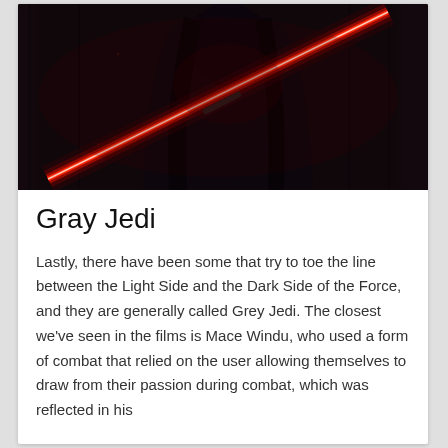[Figure (photo): A dark-robed figure wielding a red double-bladed lightsaber in a dimly lit, atmospheric environment. The lightsaber emits a vivid red glow across the scene.]
Gray Jedi
Lastly, there have been some that try to toe the line between the Light Side and the Dark Side of the Force, and they are generally called Grey Jedi. The closest we've seen in the films is Mace Windu, who used a form of combat that relied on the user allowing themselves to draw from their passion during combat, which was reflected in his